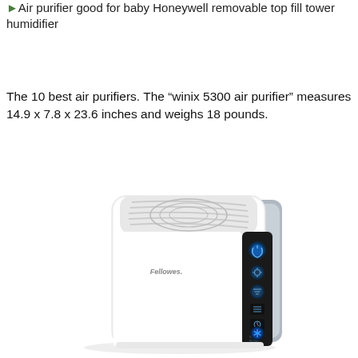Air purifier good for baby Honeywell removable top fill tower humidifier
The 10 best air purifiers. The "winix 5300 air purifier" measures 14.9 x 7.8 x 23.6 inches and weighs 18 pounds.
[Figure (photo): A white Fellowes air purifier unit shown in 3/4 view with rounded rectangular body, ventilation grille on top, and a black control panel on the right side with blue illuminated buttons including power, settings, fan speed, and a blue star/asterisk button. The unit has a silver accent on the far right side.]